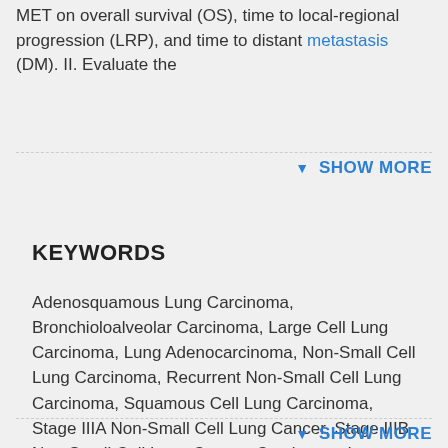MET on overall survival (OS), time to local-regional progression (LRP), and time to distant metastasis (DM). II. Evaluate the
SHOW MORE
KEYWORDS
Adenosquamous Lung Carcinoma, Bronchioloalveolar Carcinoma, Large Cell Lung Carcinoma, Lung Adenocarcinoma, Non-Small Cell Lung Carcinoma, Recurrent Non-Small Cell Lung Carcinoma, Squamous Cell Lung Carcinoma, Stage IIIA Non-Small Cell Lung Cancer, Stage IIIB Non-Small Cell Lung Cancer, Carcinoma, Lung Neoplasms, Carcinoma, Non-Small-Cell Lung, Adenocarcinoma of Lung, Adenocarcinoma,
SHOW MORE